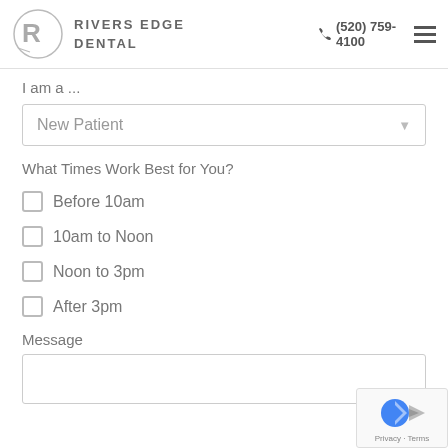RIVERS EDGE DENTAL | (520) 759-4100
I am a ...
New Patient
What Times Work Best for You?
Before 10am
10am to Noon
Noon to 3pm
After 3pm
Message